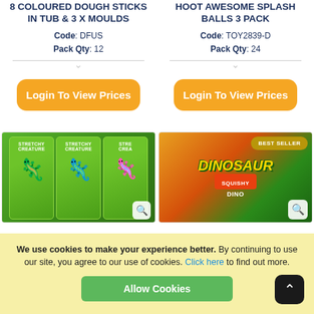8 COLOURED DOUGH STICKS IN TUB & 3 X MOULDS
Code: DFUS
Pack Qty: 12
[Figure (other): Orange Login To View Prices button]
HOOT AWESOME SPLASH BALLS 3 PACK
Code: TOY2839-D
Pack Qty: 24
[Figure (other): Orange Login To View Prices button]
[Figure (photo): Three Stretchy Creature blister card packages showing gecko/lizard toys in blue and purple]
[Figure (photo): Dinosaur Squishy Dino product box display with Best Seller badge]
We use cookies to make your experience better. By continuing to use our site, you agree to our use of cookies. Click here to find out more.
Allow Cookies